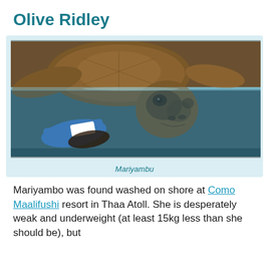Olive Ridley
[Figure (photo): A sea turtle (Mariyambu) partially submerged in a tank of water, with a blue-gloved hand holding its flipper which has a white bandage. The turtle's head is above water, facing the camera.]
Mariyambu
Mariyambo was found washed on shore at Como Maalifushi resort in Thaa Atoll. She is desperately weak and underweight (at least 15kg less than she should be), but